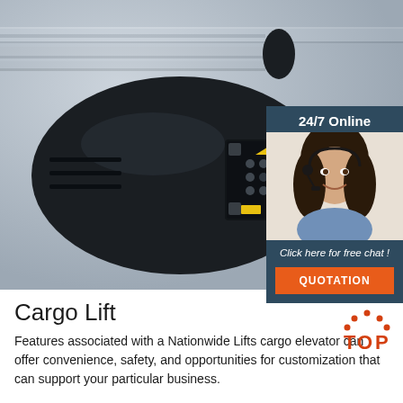[Figure (photo): Close-up photo of a cargo lift / garage door opener motor unit, black oval-shaped device mounted on silver rail track, with a control panel showing yellow arrows and red/black buttons in the center.]
[Figure (infographic): Chat widget overlay showing '24/7 Online' header in dark blue, a photo of a smiling woman with a headset, text 'Click here for free chat!' in italic, and an orange button labeled 'QUOTATION'.]
Cargo Lift
Features associated with a Nationwide Lifts cargo elevator can offer convenience, safety, and opportunities for customization that can support your particular business.
[Figure (logo): TOP logo — orange arc of dots above the word TOP in orange/red with a small graphic figure inside the O.]